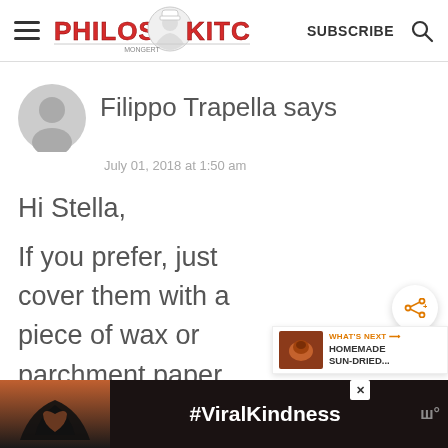Philos Kitchen — SUBSCRIBE
Filippo Trapella says
July 01, 2018 at 1:50 am
Hi Stella,

If you prefer, just cover them with a piece of wax or parchment paper.
[Figure (infographic): Ad banner at bottom with heart hands silhouette and #ViralKindness text on dark background]